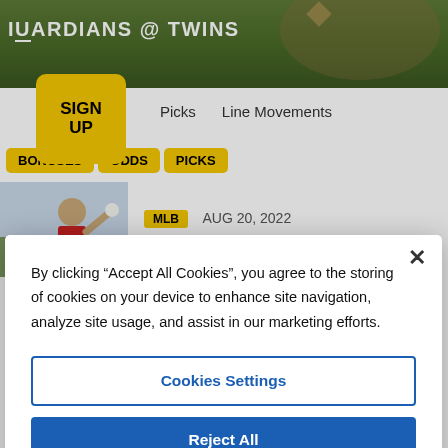[Figure (screenshot): Sports betting website screenshot showing a baseball game header 'Guardians @ Twins' with a green field background]
GUARDIANS @ TWINS
SIGN UP
Picks   Line Movements
BONUSES  ODDS  PICKS
MLB   AUG 20, 2022
Verlander Leads Cy Young...
By clicking “Accept All Cookies”, you agree to the storing of cookies on your device to enhance site navigation, analyze site usage, and assist in our marketing efforts.
Cookies Settings
Reject All
Accept All Cookies